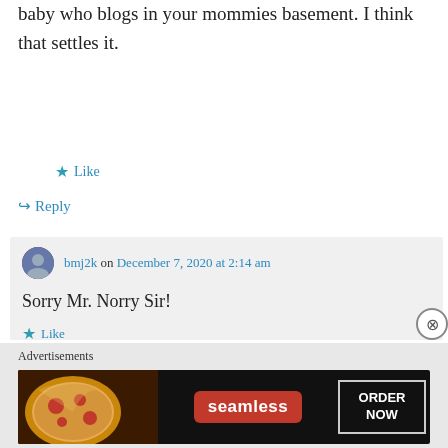baby who blogs in your mommies basement. I think that settles it.
★ Like
↪ Reply
bmj2k on December 7, 2020 at 2:14 am
Sorry Mr. Norry Sir!
★ Like
↪ Reply
Advertisements